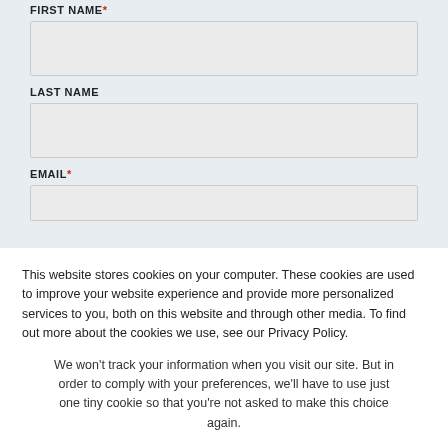FIRST NAME *
LAST NAME
EMAIL *
This website stores cookies on your computer. These cookies are used to improve your website experience and provide more personalized services to you, both on this website and through other media. To find out more about the cookies we use, see our Privacy Policy.
We won't track your information when you visit our site. But in order to comply with your preferences, we'll have to use just one tiny cookie so that you're not asked to make this choice again.
Accept
Decline